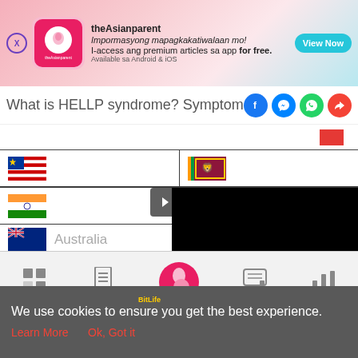[Figure (screenshot): theAsianparent app advertisement banner with logo, promotional text in Filipino, and View Now button]
What is HELLP syndrome? Symptom
[Figure (screenshot): Dark country selector panel showing Malaysia, Sri Lanka, India, Australia flags with navigation arrow and black video area]
[Figure (screenshot): BitLife - Life Simulator app advertisement with Install button]
[Figure (screenshot): Bottom navigation bar with Tools, Articles, Feed, Poll icons and a pregnancy-related center icon]
We use cookies to ensure you get the best experience.
Learn More    Ok, Got it